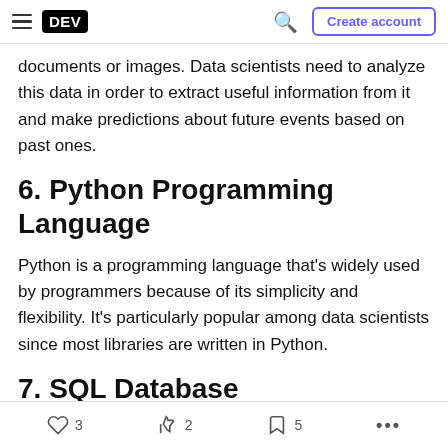DEV | Create account
documents or images. Data scientists need to analyze this data in order to extract useful information from it and make predictions about future events based on past ones.
6. Python Programming Language
Python is a programming language that's widely used by programmers because of its simplicity and flexibility. It's particularly popular among data scientists since most libraries are written in Python.
7. SQL Database
3  2  5  ...